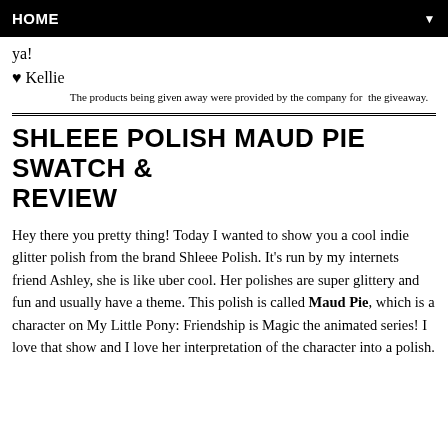HOME ▼
ya!
♥ Kellie
The products being given away were provided by the company for  the giveaway.
SHLEEE POLISH MAUD PIE SWATCH & REVIEW
Hey there you pretty thing! Today I wanted to show you a cool indie glitter polish from the brand Shleee Polish. It's run by my internets friend Ashley, she is like uber cool. Her polishes are super glittery and fun and usually have a theme. This polish is called Maud Pie, which is a character on My Little Pony: Friendship is Magic the animated series! I love that show and I love her interpretation of the character into a polish.